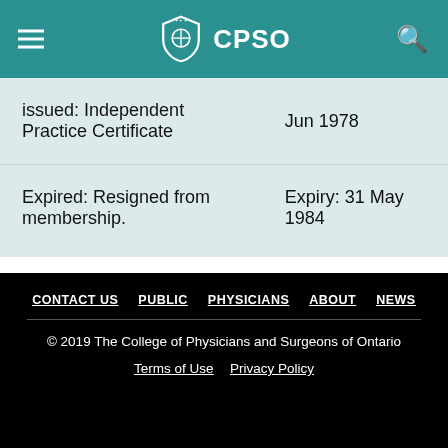CPSO
| Status | Date |
| --- | --- |
| issued: Independent Practice Certificate | Jun 1978 |
| Expired: Resigned from membership. | Expiry: 31 May 1984 |
CONTACT US  PUBLIC  PHYSICIANS  ABOUT  NEWS
© 2019 The College of Physicians and Surgeons of Ontario
Terms of Use  Privacy Policy